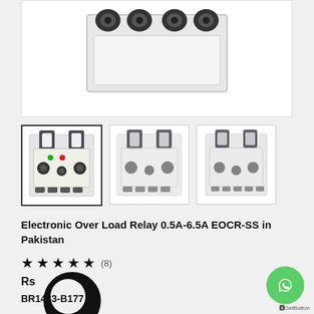[Figure (photo): Main product image of Electronic Over Load Relay EOCR-SS device showing top connectors]
[Figure (photo): Thumbnail 1 (active/selected): Electronic Over Load Relay EOCR-SS front view with green and red indicator lights]
[Figure (photo): Thumbnail 2: Electronic Over Load Relay EOCR-SS front view, slightly blurred]
[Figure (photo): Thumbnail 3: Electronic Over Load Relay EOCR-SS front view, slightly blurred]
Electronic Over Load Relay 0.5A-6.5A EOCR-SS in Pakistan
★ ★ ★ ★ ★ (8)
Rs
BR1433-B177